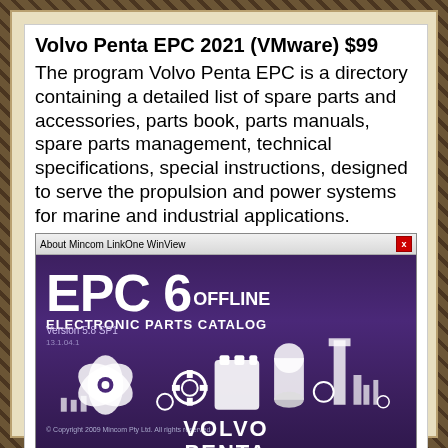Volvo Penta EPC 2021 (VMware) $99
The program Volvo Penta EPC is a directory containing a detailed list of spare parts and accessories, parts book, parts manuals, spare parts management, technical specifications, special instructions, designed to serve the propulsion and power systems for marine and industrial applications.
[Figure (screenshot): Screenshot of Volvo Penta EPC 6 Offline Electronic Parts Catalog software splash screen, showing EPC 6 OFFLINE title, Version 5.8 SP1, ELECTRONIC PARTS CATALOG text, illustration of marine and industrial parts including propeller, engine components, gears, and VOLVO PENTA branding at bottom, on purple/indigo background.]